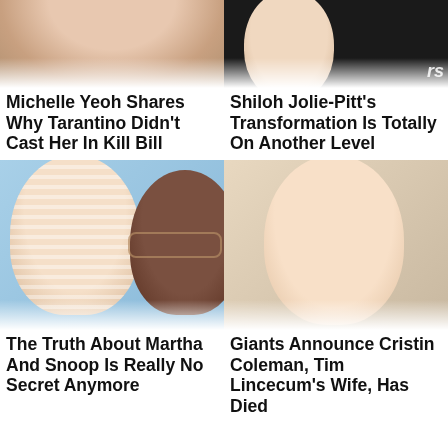[Figure (photo): Close-up photo of Michelle Yeoh]
Michelle Yeoh Shares Why Tarantino Didn't Cast Her In Kill Bill
[Figure (photo): Close-up photo of Shiloh Jolie-Pitt]
Shiloh Jolie-Pitt's Transformation Is Totally On Another Level
[Figure (photo): Photo of Martha Stewart and Snoop Dogg together]
The Truth About Martha And Snoop Is Really No Secret Anymore
[Figure (photo): Photo of Cristin Coleman, smiling blonde woman]
Giants Announce Cristin Coleman, Tim Lincecum's Wife, Has Died